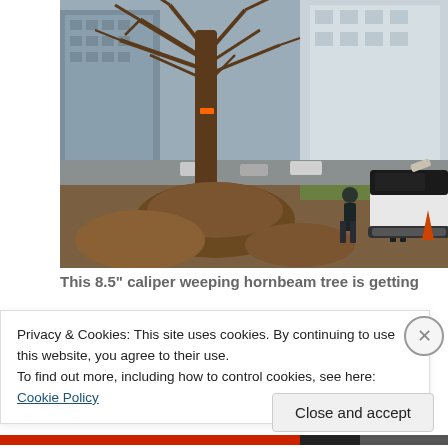[Figure (photo): Outdoor urban scene showing workers transplanting a large weeping hornbeam tree (8.5 inch caliper) using a mini excavator/bobcat. The tree is bare of leaves and has a large exposed root ball. Two workers in dark clothing stand nearby. City buildings are visible in the background.]
This 8.5” caliper weeping hornbeam tree is getting
Privacy & Cookies: This site uses cookies. By continuing to use this website, you agree to their use.
To find out more, including how to control cookies, see here: Cookie Policy